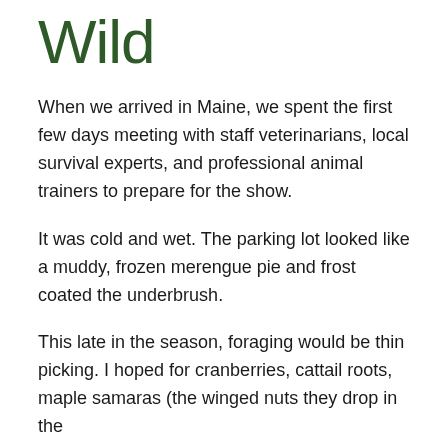Wild
When we arrived in Maine, we spent the first few days meeting with staff veterinarians, local survival experts, and professional animal trainers to prepare for the show.
It was cold and wet. The parking lot looked like a muddy, frozen merengue pie and frost coated the underbrush.
This late in the season, foraging would be thin picking. I hoped for cranberries, cattail roots, maple samaras (the winged nuts they drop in the